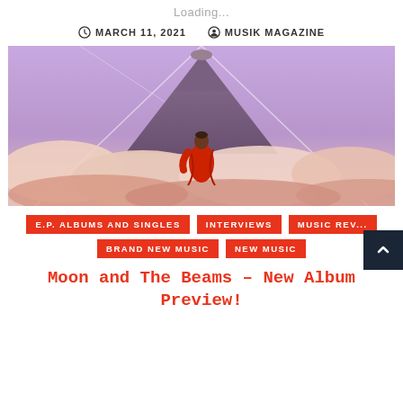Loading...
MARCH 11, 2021   MUSIK MAGAZINE
[Figure (photo): Person in red robe standing on clouds facing a large volcanic mountain peak against a purple sky with geometric triangle lines]
E.P. ALBUMS AND SINGLES
INTERVIEWS
MUSIC REVIEWS
BRAND NEW MUSIC
NEW MUSIC
Moon and The Beams – New Album Preview!